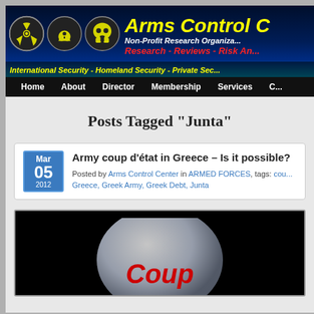[Figure (screenshot): Arms Control Center website header banner with hazard symbols (nuclear, biohazard, skull), yellow title 'Arms Control C...', subtitle 'Non-Profit Research Organiza...', red text 'Research - Reviews - Risk An...', yellow tagline 'International Security - Homeland Security - Private Sec...', and navigation bar with Home, About, Director, Membership, Services, C...]
Posts Tagged “Junta”
Army coup d’état in Greece – Is it possible?
Mar 05 2012
Posted by Arms Control Center in ARMED FORCES, tags: cou... Greece, Greek Army, Greek Debt, Junta
[Figure (photo): Partial article image showing a dark background with a silvery globe/ball and large red italic text 'Coup' at the bottom]